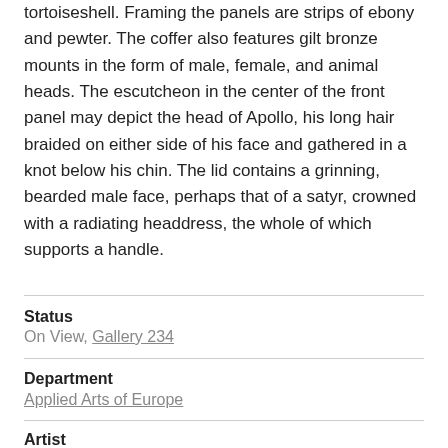tortoiseshell. Framing the panels are strips of ebony and pewter. The coffer also features gilt bronze mounts in the form of male, female, and animal heads. The escutcheon in the center of the front panel may depict the head of Apollo, his long hair braided on either side of his face and gathered in a knot below his chin. The lid contains a grinning, bearded male face, perhaps that of a satyr, crowned with a radiating headdress, the whole of which supports a handle.
Status
On View, Gallery 234
Department
Applied Arts of Europe
Artist
André Charles Boulle